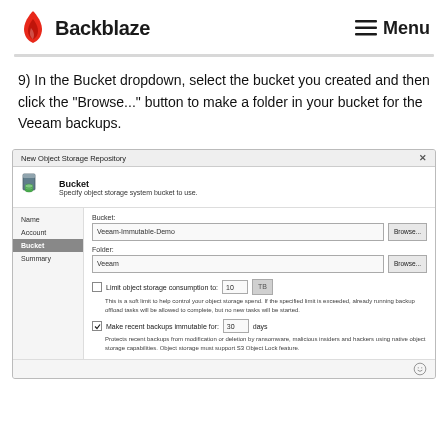Backblaze — Menu
9) In the Bucket dropdown, select the bucket you created and then click the "Browse..." button to make a folder in your bucket for the Veeam backups.
[Figure (screenshot): Screenshot of Veeam 'New Object Storage Repository' dialog showing the Bucket configuration step. Left nav shows Name, Account, Bucket (active), Summary. Right side shows Bucket field with 'Veeam-Immutable-Demo', Folder field with 'Veeam', a checkbox for 'Limit object storage consumption to: 10 TB' (unchecked), and a checked checkbox for 'Make recent backups immutable for: 30 days' with description text.]